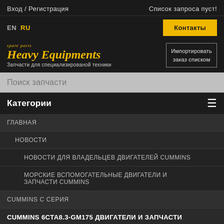Вход / Регистрация
Список запроса пуст!
EN  RU
Контакты
[Figure (logo): Heavy Equipments spare parts logo with tagline Запчасти для специализированой техники]
Импортировать заказ списком
Поиск запчасти
Категории
ГЛАВНАЯ
НОВОСТИ
НОВОСТИ ДЛЯ ВЛАДЕЛЬЦЕВ ДВИГАТЕЛЕЙ CUMMINS
МОРСКИЕ ВСПОМОГАТЕЛЬНЫЕ ДВИГАТЕЛИ И ЗАПЧАСТИ CUMMINS
CUMMINS C СЕРИЯ
CUMMINS 6CTA8.3-GM175 ДВИГАТЕЛИ И ЗАПЧАСТИ